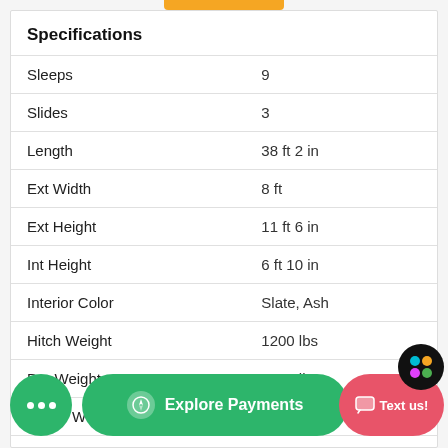Specifications
| Specification | Value |
| --- | --- |
| Sleeps | 9 |
| Slides | 3 |
| Length | 38 ft 2 in |
| Ext Width | 8 ft |
| Ext Height | 11 ft 6 in |
| Int Height | 6 ft 10 in |
| Interior Color | Slate, Ash |
| Hitch Weight | 1200 lbs |
| Dry Weight | 8710 lbs |
| Cargo Weight | 2078 lbs |
| Fresh Water C… | … |
| …y Water C… | … |
| Black Water Cap… | … |